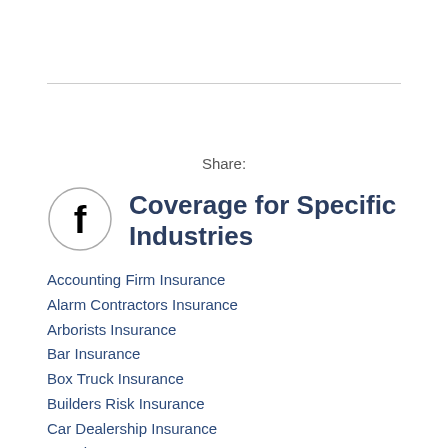Share:
[Figure (logo): Facebook logo circle icon — a circle outline with a lowercase 'f' inside]
Coverage for Specific Industries
Accounting Firm Insurance
Alarm Contractors Insurance
Arborists Insurance
Bar Insurance
Box Truck Insurance
Builders Risk Insurance
Car Dealership Insurance
Catering Insurance
Construction Insurance